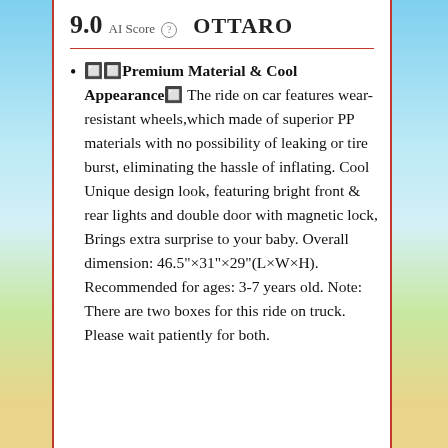9.0  AI Score  OTTARO
🔲🔲Premium Material & Cool Appearance🔲 The ride on car features wear-resistant wheels,which made of superior PP materials with no possibility of leaking or tire burst, eliminating the hassle of inflating. Cool Unique design look, featuring bright front & rear lights and double door with magnetic lock, Brings extra surprise to your baby. Overall dimension: 46.5"×31"×29"(L×W×H). Recommended for ages: 3-7 years old. Note: There are two boxes for this ride on truck. Please wait patiently for both.